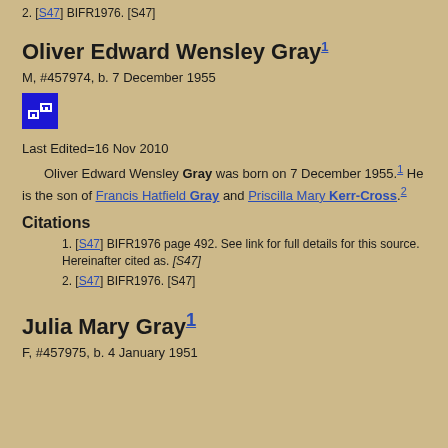2. [S47] BIFR1976. [S47]
Oliver Edward Wensley Gray1
M, #457974, b. 7 December 1955
[Figure (other): Blue icon with white diagram showing linked boxes/hierarchy]
Last Edited=16 Nov 2010
Oliver Edward Wensley Gray was born on 7 December 1955.1 He is the son of Francis Hatfield Gray and Priscilla Mary Kerr-Cross.2
Citations
1. [S47] BIFR1976 page 492. See link for full details for this source. Hereinafter cited as. [S47]
2. [S47] BIFR1976. [S47]
Julia Mary Gray1
F, #457975, b. 4 January 1951